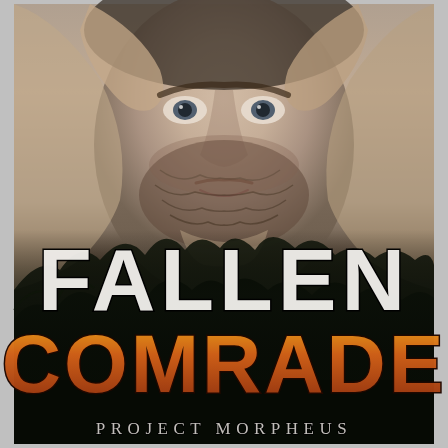[Figure (illustration): Book cover for 'Fallen Comrade' (Project Morpheus series). Features a close-up of a rugged, bearded man with intense eyes and hands raised near his head. The lower half transitions to a dark forest of pine trees silhouetted against a dim sky. Large bold text reads 'FALLEN' in white/grey and 'COMRADE' in orange gradient. Below: 'PROJECT MORPHEUS' in spaced serif lettering.]
FALLEN COMRADE
PROJECT MORPHEUS